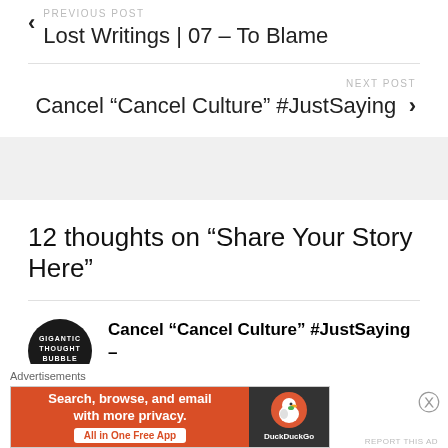PREVIOUS POST
Lost Writings | 07 – To Blame
NEXT POST Cancel “Cancel Culture” #JustSaying
12 thoughts on “Share Your Story Here”
Cancel “Cancel Culture” #JustSaying – Gigantic Thought Bubble says:
Advertisements
[Figure (infographic): DuckDuckGo advertisement banner: orange section with text 'Search, browse, and email with more privacy. All in One Free App' and dark section with DuckDuckGo duck logo]